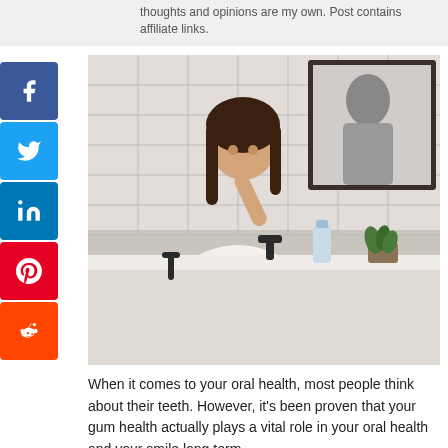thoughts and opinions are my own. Post contains affiliate links.
[Figure (photo): Woman in a floral dress brushing her teeth at a bathroom sink, holding a dental product. White subway tile walls, black fixtures, mirror reflection visible in background.]
When it comes to your oral health, most people think about their teeth. However, it’s been proven that your gum health actually plays a vital role in your oral health and your smile long term.